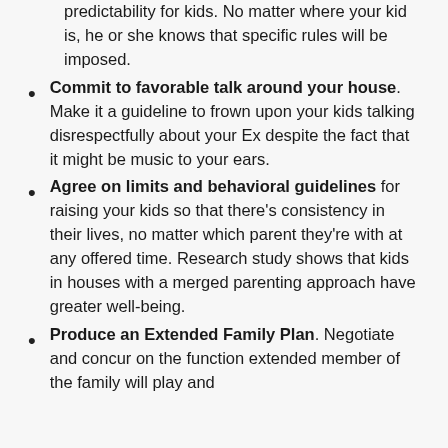predictability for kids. No matter where your kid is, he or she knows that specific rules will be imposed.
Commit to favorable talk around your house. Make it a guideline to frown upon your kids talking disrespectfully about your Ex despite the fact that it might be music to your ears.
Agree on limits and behavioral guidelines for raising your kids so that there's consistency in their lives, no matter which parent they're with at any offered time. Research study shows that kids in houses with a merged parenting approach have greater well-being.
Produce an Extended Family Plan. Negotiate and concur on the function extended member of the family will play and